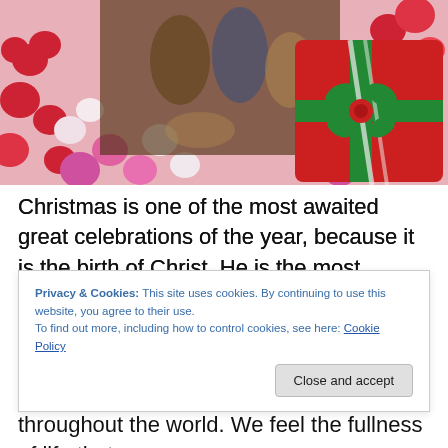[Figure (photo): Composite image showing candy hearts (red, pink, white) scattered around, with a nativity scene figures overlay in the center-top area, and a red heart-shaped gift box with green and white ribbon bow on the right side.]
Christmas is one of the most awaited great celebrations of the year, because it is the birth of Christ. He is the most valuable gift we will ever receive. Jesus Christ is the essence of Christmas and that is why we are happy to
Privacy & Cookies: This site uses cookies. By continuing to use this website, you agree to their use.
To find out more, including how to control cookies, see here: Cookie Policy
throughout the world. We feel the fullness of life that we